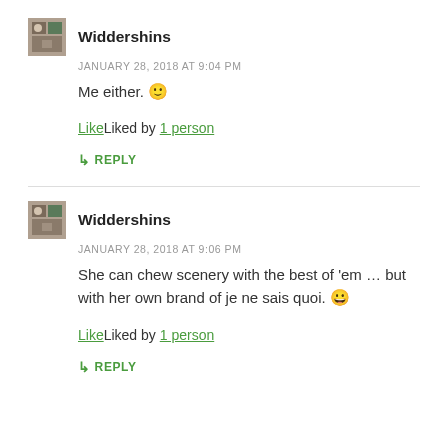Widdershins
JANUARY 28, 2018 AT 9:04 PM
Me either. 🙂
LikeLiked by 1 person
↳ REPLY
Widdershins
JANUARY 28, 2018 AT 9:06 PM
She can chew scenery with the best of 'em … but with her own brand of je ne sais quoi. 😀
LikeLiked by 1 person
↳ REPLY